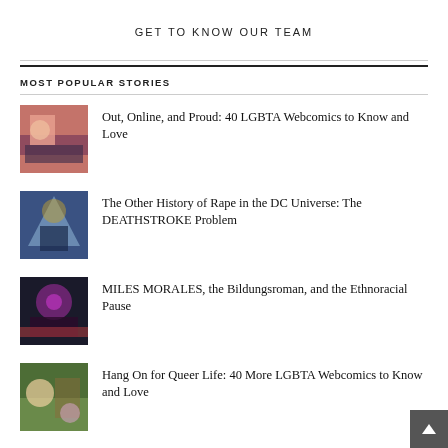GET TO KNOW OUR TEAM
MOST POPULAR STORIES
Out, Online, and Proud: 40 LGBTA Webcomics to Know and Love
The Other History of Rape in the DC Universe: The DEATHSTROKE Problem
MILES MORALES, the Bildungsroman, and the Ethnoracial Pause
Hang On for Queer Life: 40 More LGBTA Webcomics to Know and Love
The Fall of Roy Harper: How ARSENAL's Navajo Origins Disappeared from the Page